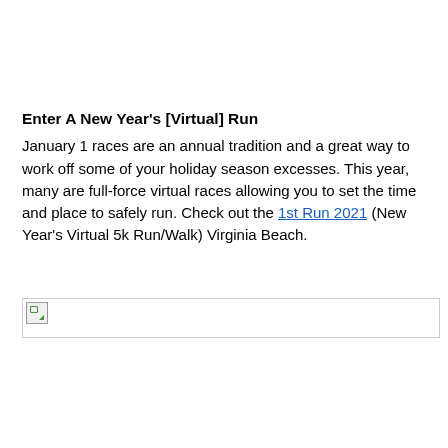Enter A New Year's [Virtual] Run
January 1 races are an annual tradition and a great way to work off some of your holiday season excesses. This year, many are full-force virtual races allowing you to set the time and place to safely run. Check out the 1st Run 2021 (New Year's Virtual 5k Run/Walk) Virginia Beach.
[Figure (photo): Broken image placeholder with a small icon in the top-left corner, outlined with a light border.]